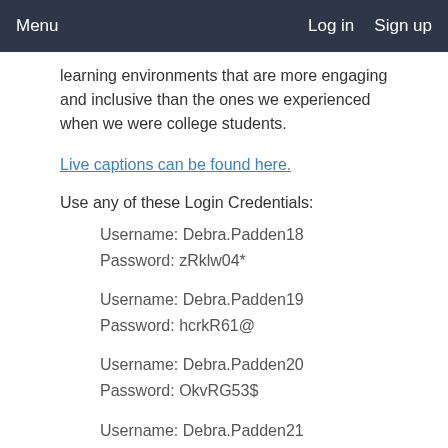Menu   Log in   Sign up
learning environments that are more engaging and inclusive than the ones we experienced when we were college students.
Live captions can be found here.
Use any of these Login Credentials:
Username:  Debra.Padden18
Password: zRklw04*
Username: Debra.Padden19
Password: hcrkR61@
Username: Debra.Padden20
Password: OkvRG53$
Username: Debra.Padden21
Password: PfmKZ83&